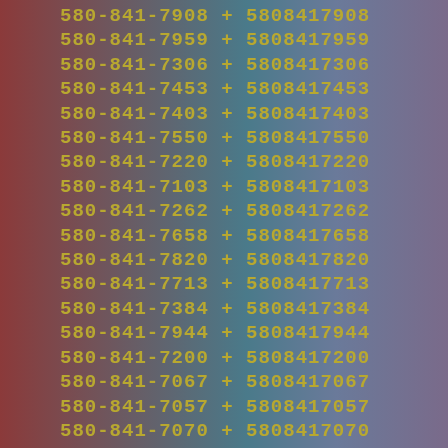580-841-7908 + 5808417908
580-841-7959 + 5808417959
580-841-7306 + 5808417306
580-841-7453 + 5808417453
580-841-7403 + 5808417403
580-841-7550 + 5808417550
580-841-7220 + 5808417220
580-841-7103 + 5808417103
580-841-7262 + 5808417262
580-841-7658 + 5808417658
580-841-7820 + 5808417820
580-841-7713 + 5808417713
580-841-7384 + 5808417384
580-841-7944 + 5808417944
580-841-7200 + 5808417200
580-841-7067 + 5808417067
580-841-7057 + 5808417057
580-841-7070 + 5808417070
580-841-7250 + 5808417250
580-841-7282 + 5808417282
580-841-7097 + 5808417097
580-841-7486 + 5808417486
580-841-7062 + 5808417062